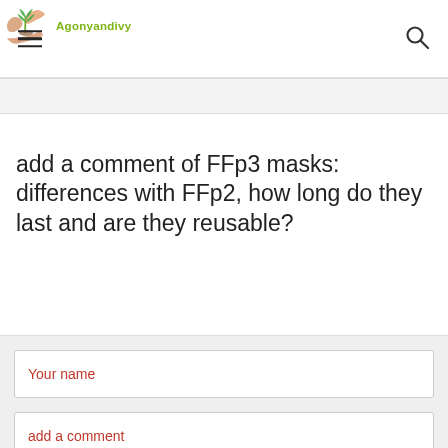Agonyandivy logo and navigation header
add a comment of FFp3 masks: differences with FFp2, how long do they last and are they reusable?
[Figure (screenshot): Comment form with 'Your name' and 'add a comment' input fields on a light gray background]